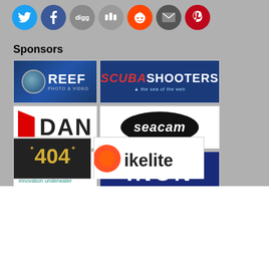[Figure (screenshot): Social sharing icons: Twitter, Facebook, Digg, StumbleUpon, Reddit, Email, Pinterest]
Sponsors
[Figure (screenshot): Sponsor logos grid: Reef Photo & Video, Scuba Shooters, DAN, Seacam, Nauticam, INON, Backscatter Underwater Video & Photo, Dive Photo Guide, partial row with two more sponsor logos including Ikelite]
Open this topic on...
Tapatalk App — OPEN
Safari — CONTINUE